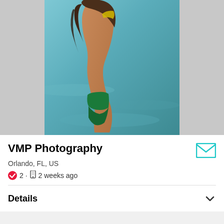[Figure (photo): A woman in a yellow bikini top and green bikini bottoms standing near water, viewed from the back/side, with long wavy brown hair. Background is blurry blue ocean water. Photo displayed on a light gray background with white/gray left and right borders.]
VMP Photography
Orlando, FL, US
✔ 2 · 📱 2 weeks ago
Details